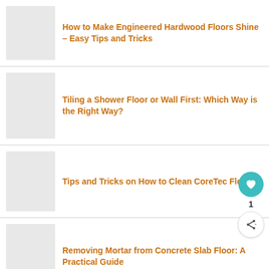How to Make Engineered Hardwood Floors Shine – Easy Tips and Tricks
Tiling a Shower Floor or Wall First: Which Way is the Right Way?
Tips and Tricks on How to Clean CoreTec Flooring
Removing Mortar from Concrete Slab Floor: A Practical Guide